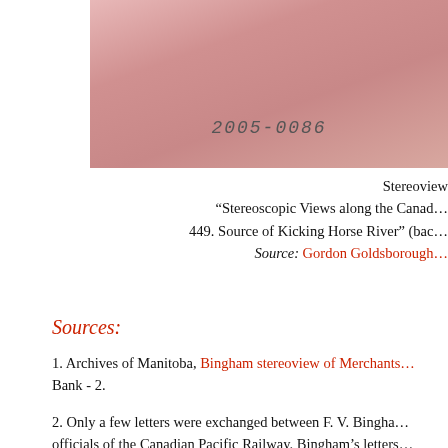[Figure (photo): Pink/rose-colored stereoview card back showing handwritten text '2005-0086', partially cropped, the card has a worn texture.]
Stereoview
“Stereoscopic Views along the Canad…
449. Source of Kicking Horse River” (bac…
Source: Gordon Goldsborough…
Sources:
1. Archives of Manitoba, Bingham stereoview of Merchants Bank - 2.
2. Only a few letters were exchanged between F. V. Bingha… officials of the Canadian Pacific Railway. Bingham’s letters… the railway or requests for free passes on their line. None s… existed between Bingham and the railway, contrary to the i… Photographer to the CPR” that appears on many of Bingha…